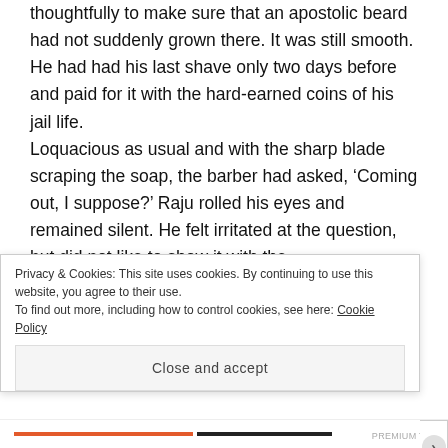thoughtfully to make sure that an apostolic beard had not suddenly grown there. It was still smooth. He had had his last shave only two days before and paid for it with the hard-earned coins of his jail life.
Loquacious as usual and with the sharp blade scraping the soap, the barber had asked, ‘Coming out, I suppose?’ Raju rolled his eyes and remained silent. He felt irritated at the question, but did not like to show it with the
Privacy & Cookies: This site uses cookies. By continuing to use this website, you agree to their use.
To find out more, including how to control cookies, see here: Cookie Policy
Close and accept